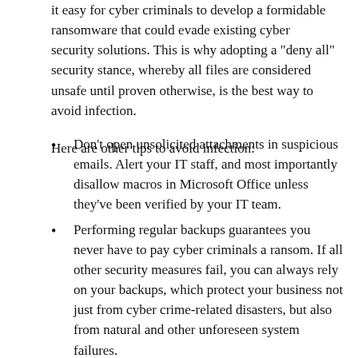it easy for cyber criminals to develop a formidable ransomware that could evade existing cyber security solutions. This is why adopting a "deny all" security stance, whereby all files are considered unsafe until proven otherwise, is the best way to avoid infection.
Here are other tips to avoid infection:
Don't open unsolicited attachments in suspicious emails. Alert your IT staff, and most importantly disallow macros in Microsoft Office unless they've been verified by your IT team.
Performing regular backups guarantees you never have to pay cyber criminals a ransom. If all other security measures fail, you can always rely on your backups, which protect your business not just from cyber crime-related disasters, but also from natural and other unforeseen system failures.